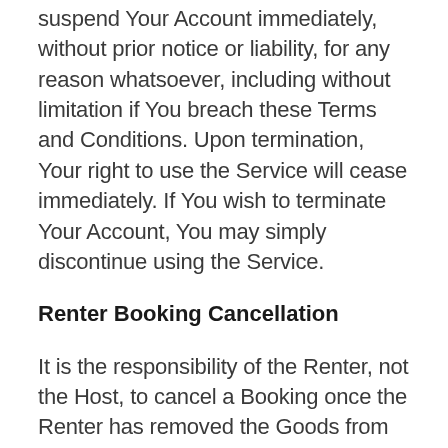suspend Your Account immediately, without prior notice or liability, for any reason whatsoever, including without limitation if You breach these Terms and Conditions. Upon termination, Your right to use the Service will cease immediately. If You wish to terminate Your Account, You may simply discontinue using the Service.
Renter Booking Cancellation
It is the responsibility of the Renter, not the Host, to cancel a Booking once the Renter has removed the Goods from the Space. Renters must visit their My Bookings page to cancel their Booking and all future payments will be stopped effective immediately. Renters are not eligible for a refund nor a prorated